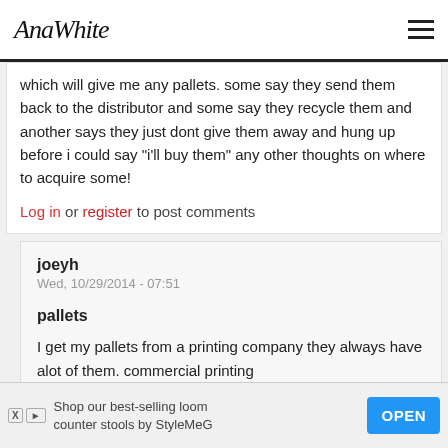AnaWhite
which will give me any pallets. some say they send them back to the distributor and some say they recycle them and another says they just dont give them away and hung up before i could say "i'll buy them" any other thoughts on where to acquire some!
Log in or register to post comments
joeyh
Wed, 10/29/2014 - 07:51
pallets
I get my pallets from a printing company they always have alot of them. commercial printing
Shop our best-selling loom counter stools by StyleMeG  OPEN